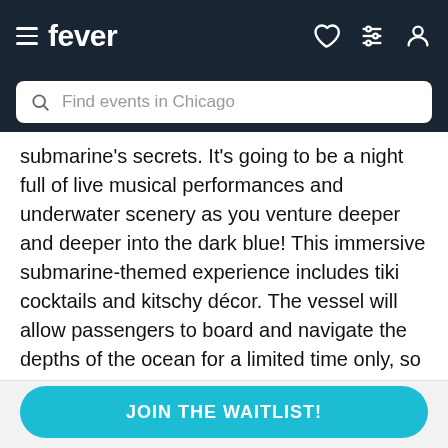fever — Find events in Chicago
submarine's secrets. It's going to be a night full of live musical performances and underwater scenery as you venture deeper and deeper into the dark blue! This immersive submarine-themed experience includes tiki cocktails and kitschy décor. The vessel will allow passengers to board and navigate the depths of the ocean for a limited time only, so don't delay. Come thirsty and leave with your sea legs!
Any questions?
JOIN THE WAITLIST!